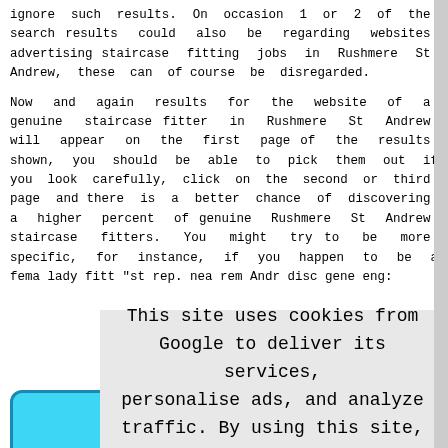ignore such results. On occasion 1 or 2 of the search results could also be regarding websites advertising staircase fitting jobs in Rushmere St Andrew, these can of course be disregarded.
Now and again results for the website of a genuine staircase fitter in Rushmere St Andrew will appear on the first page of the results shown, you should be able to pick them out if you look carefully, click on the second or third page and there is a better chance of discovering a higher percent of genuine Rushmere St Andrew staircase fitters. You might try to be more specific, for instance, if you happen to be a fema lady fitt "st rep. nea rem Andr disc gene eng:
This site uses cookies from Google to deliver its services, personalise ads, and analyze traffic. By using this site, you agree to its use of cookies. Learn More   I Agree
[Figure (illustration): Rounded rectangle image box with cyan/teal background and blue border at bottom left]